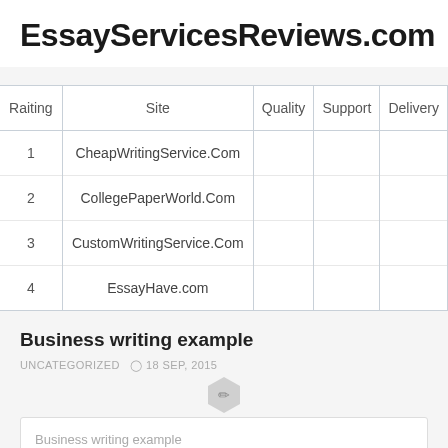EssayServicesReviews.com
| Raiting | Site | Quality | Support | Delivery |
| --- | --- | --- | --- | --- |
| 1 | CheapWritingService.Com |  |  |  |
| 2 | CollegePaperWorld.Com |  |  |  |
| 3 | CustomWritingService.Com |  |  |  |
| 4 | EssayHave.com |  |  |  |
Business writing example
UNCATEGORIZED  ⊙  18 SEP, 2015
Business writing example